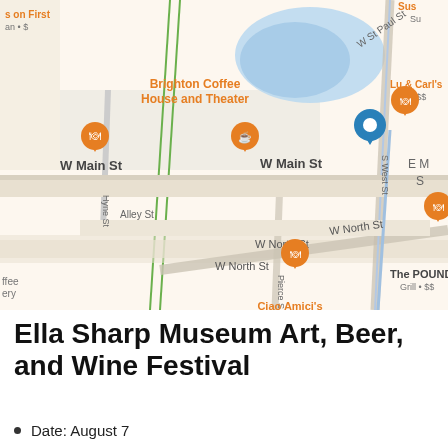[Figure (map): Google My Maps screenshot showing Brighton area streets including W Main St, W North St, Alley St, W St Paul St, S West St, Hyne St, Pierce St. Landmarks labeled: Brighton Coffee House and Theater, Ciao Amici's (Italian $$), The POUND! Bar & Grill (Grill $$), Lu & Carl's Grill ($$), Fifth Third Bank & ATM, Foguth Financial Group, The Greater Brighton Area Chamber of..., and a blue location pin marker. Map UI shows zoom controls (+/-), Google My Maps branding, scale bar (200 ft), Map data ©2022 Google, Terms, Keyboard shortcuts.]
Ella Sharp Museum Art, Beer, and Wine Festival
Date: August 7